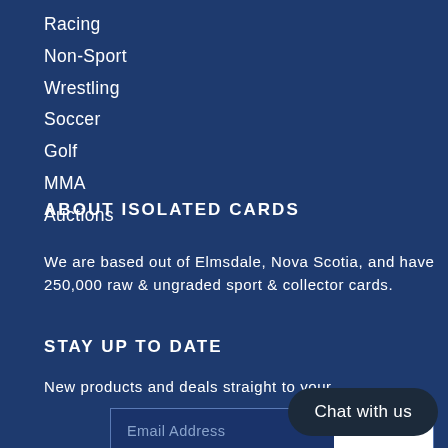Racing
Non-Sport
Wrestling
Soccer
Golf
MMA
Auctions
ABOUT ISOLATED CARDS
We are based out of Elmsdale, Nova Scotia, and have 250,000 raw & ungraded sport & collector cards.
STAY UP TO DATE
New products and deals straight to your